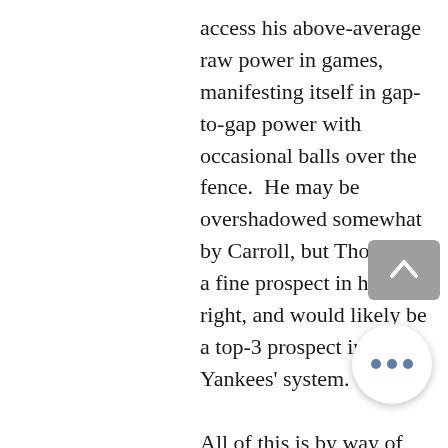access his above-average raw power in games, manifesting itself in gap-to-gap power with occasional balls over the fence.  He may be overshadowed somewhat by Carroll, but Thomas is a fine prospect in his own right, and would likely be a top-3 prospect in the Yankees' system.
All of this is by way of saying that neither player would come cheap, but both have obvious long-term fits for the Yankees, as both can play centerfield, bat left-handed, and would be ideal lead-off men.  Unfortunately. their long-term fits in their current organization is clear as well.  The Diamondbacks are re-tooling on the fly, and hoping to compete again in the near future. Thomas and Carroll, as players likely to